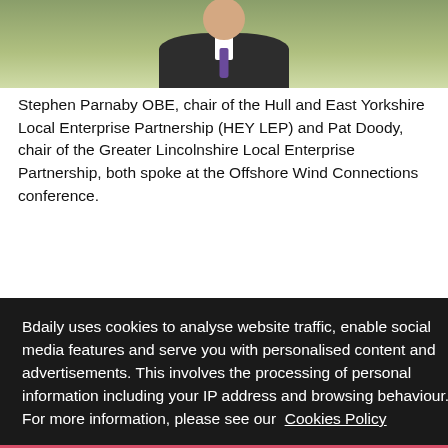[Figure (photo): Partial photo of a man in a dark suit with a purple tie, cropped at upper body and head, with a green outdoor background]
Stephen Parnaby OBE, chair of the Hull and East Yorkshire Local Enterprise Partnership (HEY LEP) and Pat Doody, chair of the Greater Lincolnshire Local Enterprise Partnership, both spoke at the Offshore Wind Connections conference.
Bdaily uses cookies to analyse website traffic, enable social media features and serve you with personalised content and advertisements. This involves the processing of personal information including your IP address and browsing behaviour. For more information, please see our Cookies Policy
I ACCEPT
wind energy sector on our North sea coast, and this HRO will